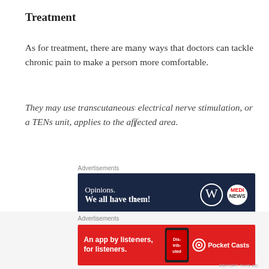Treatment
As for treatment, there are many ways that doctors can tackle chronic pain to make a person more comfortable.
They may use transcutaneous electrical nerve stimulation, or a TENs unit, applies to the affected area.
[Figure (screenshot): Advertisement banner: dark navy background with text 'Opinions. We all have them!' and WordPress and other logos on the right.]
Breathing and meditation techniques.
[Figure (screenshot): Advertisement banner: red background with text 'An app by listeners, for listeners.' and Pocket Casts logo, with a phone image showing 'Distributed' text.]